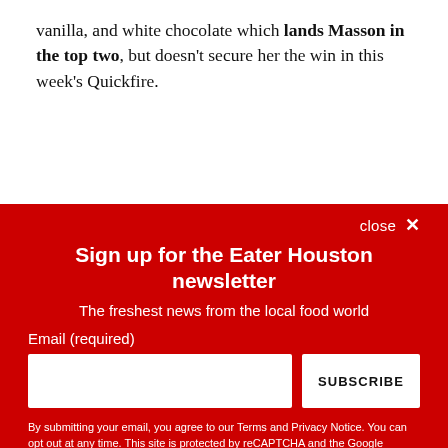vanilla, and white chocolate which lands Masson in the top two, but doesn't secure her the win in this week's Quickfire.
close ×
Sign up for the Eater Houston newsletter
The freshest news from the local food world
Email (required)
SUBSCRIBE
By submitting your email, you agree to our Terms and Privacy Notice. You can opt out at any time. This site is protected by reCAPTCHA and the Google Privacy Policy and Terms of Service apply.